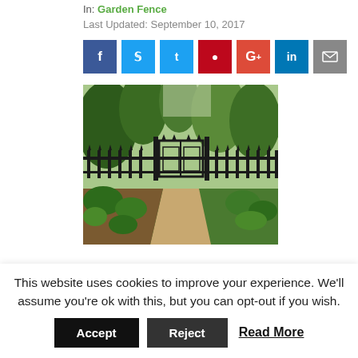In: Garden Fence
Last Updated: September 10, 2017
[Figure (other): Social sharing buttons: Facebook, Twitter, Pinterest, Google+, LinkedIn, Email]
[Figure (photo): Garden scene with black iron gate/fence, concrete walkway, green plants and trees in background]
This website uses cookies to improve your experience. We'll assume you're ok with this, but you can opt-out if you wish.
Accept   Reject   Read More